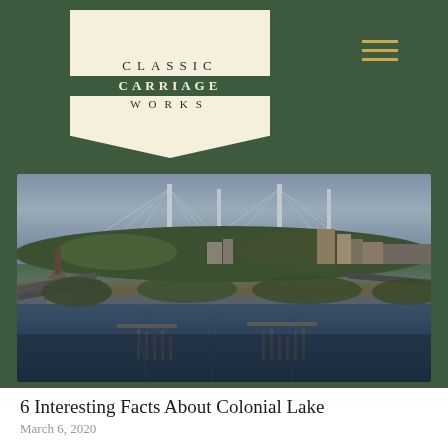[Figure (logo): Classic Carriage Works logo on cream-colored pennant-shaped background with green header bar. Hamburger menu icon (three gold horizontal lines) on the right.]
[Figure (photo): Aerial photograph of Charleston, SC showing Colonial Lake area, the Arthur Ravenel Jr. Bridge (cable-stayed bridge) in the background, waterway, bridges, and city buildings.]
6 Interesting Facts About Colonial Lake
March 6, 2020